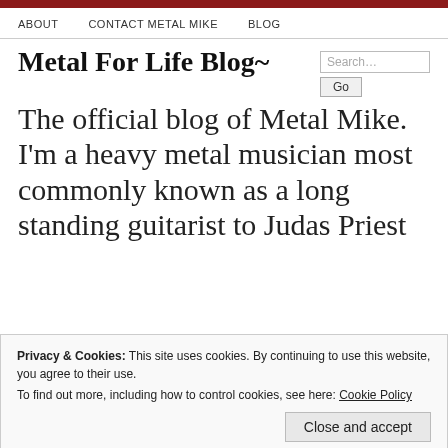ABOUT   CONTACT METAL MIKE   BLOG
Metal For Life Blog~
The official blog of Metal Mike. I'm a heavy metal musician most commonly known as a long standing guitarist to Judas Priest
Privacy & Cookies: This site uses cookies. By continuing to use this website, you agree to their use.
To find out more, including how to control cookies, see here: Cookie Policy
Close and accept
...k. I am also a solo...